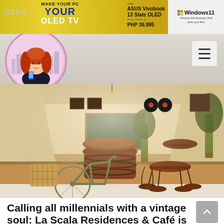[Figure (screenshot): ASUS advertisement banner with ASUS logo, 'MAKE YOUR PC YOUR OLED TV' text, ASUS Vivobook 13 Slate OLED product with price PHP 39,995, and Windows 11 branding]
[Figure (logo): Manila Millennial blog logo: circular badge with illustrated red-haired girl holding a phone, city buildings in background, text 'MANILA MILLENNIAL' around the circle]
[Figure (photo): Interior photo of La Scala Residences cafe showing vintage-style cafe with wooden barrel table, round bistro tables, wrought-iron chairs, vintage bicycle, and potted plants under warm lighting]
Calling all millennials with a vintage soul: La Scala Residences & Café is